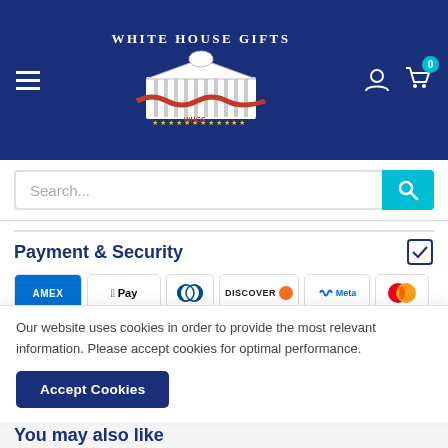[Figure (logo): White House Gifts logo — white text 'WHITE HOUSE GIFTS' above an illustration of the White House with red banners and stars, on a dark navy blue header background]
[Figure (screenshot): Search bar with placeholder text 'Search...' and teal search button with magnifying glass icon]
Payment & Security
[Figure (infographic): Payment method icons: American Express, Apple Pay, Diners Club, Discover, Meta Pay, Mastercard, PayPal, Shop Pay, Venmo, Visa]
Your payment information is processed securely. We do not store credit card details nor have access to your credit card
Our website uses cookies in order to provide the most relevant information. Please accept cookies for optimal performance.
Accept Cookies
You may also like